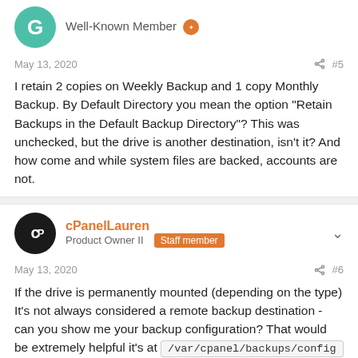Well-Known Member
May 13, 2020  #5
I retain 2 copies on Weekly Backup and 1 copy Monthly Backup. By Default Directory you mean the option "Retain Backups in the Default Backup Directory"? This was unchecked, but the drive is another destination, isn't it? And how come and while system files are backed, accounts are not.
cPanelLauren
Product Owner II  Staff member
May 13, 2020  #6
If the drive is permanently mounted (depending on the type) It's not always considered a remote backup destination - can you show me your backup configuration? That would be extremely helpful it's at /var/cpanel/backups/config